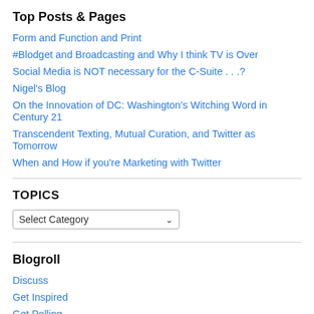Top Posts & Pages
Form and Function and Print
#Blodget and Broadcasting and Why I think TV is Over
Social Media is NOT necessary for the C-Suite . . .?
Nigel's Blog
On the Innovation of DC: Washington's Witching Word in Century 21
Transcendent Texting, Mutual Curation, and Twitter as Tomorrow
When and How if you're Marketing with Twitter
TOPICS
Select Category
Blogroll
Discuss
Get Inspired
Get Polling